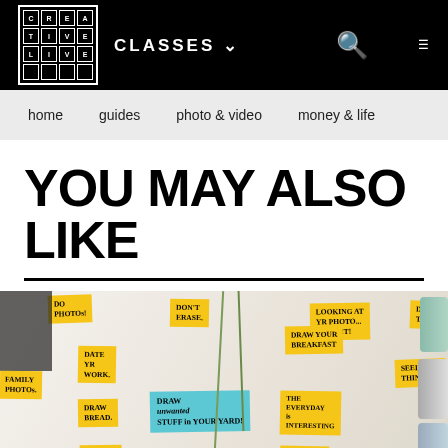[Figure (logo): CreativeLive logo grid with letters C,R,E,A,T,I,V,E,L,I,V,E in a 4x4 grid with white borders on black background]
CLASSES  🔍  ≡
home   guides   photo & video   money & life
YOU MAY ALSO LIKE
[Figure (photo): Photo of a whiteboard or flat lay with many yellow sticky notes and one blue sticky note containing hand-written drawing prompts: 'DO PHOTOS!', 'DON'T ERASE.', 'DRAW YOUR BREAKFAST', 'LOOKING AT YR PHOTO... DRAW IT!', 'DRAW TRASH', 'DATE YR WORK.', 'SEEING THINKING', 'DRAW BREAD.', 'DRAW unwanted STUFF in YOUR YARD!', 'THE EVERYDAY is INTERESTING', 'FAMILY PHOTOS.', 'DRAW ROCKS FROM A WALK!', 'WRITING is DRAWING', 'DRAW SELFIES', along with plants, cans, and small photographs arranged on a white surface]